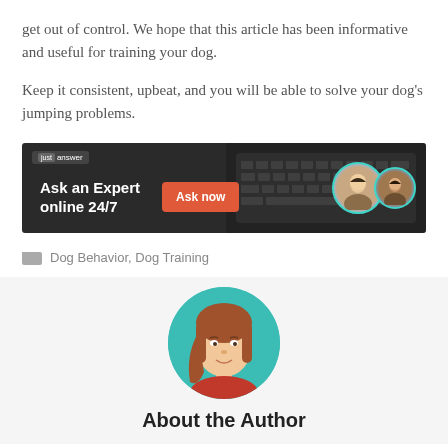get out of control. We hope that this article has been informative and useful for training your dog.
Keep it consistent, upbeat, and you will be able to solve your dog’s jumping problems.
[Figure (other): JustAnswer advertisement banner: 'Ask an Expert online 24/7' with an orange 'Ask now' button and two avatar portrait circles on the right with teal borders, on a dark background with a keyboard image.]
Dog Behavior, Dog Training
[Figure (illustration): Illustrated portrait of a woman with long red/brown hair and a red top, displayed in a circular teal-bordered frame, above an 'About the Author' heading.]
About the Author